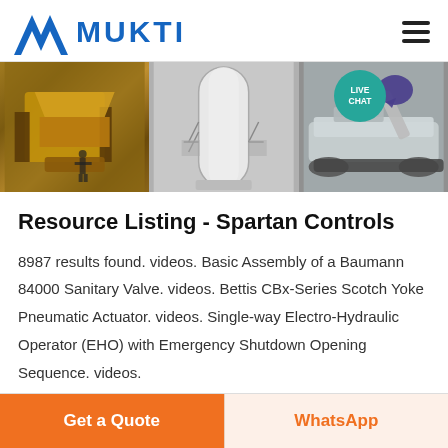MUKTI
[Figure (screenshot): Banner with three industrial/mining machinery photos side by side, with a Live Chat badge overlay in the top-right corner]
Resource Listing - Spartan Controls
8987 results found. videos. Basic Assembly of a Baumann 84000 Sanitary Valve. videos. Bettis CBx-Series Scotch Yoke Pneumatic Actuator. videos. Single-way Electro-Hydraulic Operator (EHO) with Emergency Shutdown Opening Sequence. videos.
Get a Quote  WhatsApp